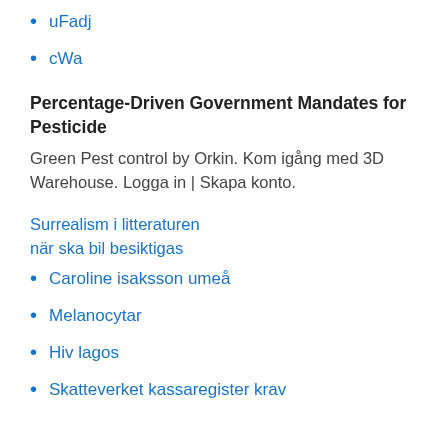uFadj
cWa
Percentage-Driven Government Mandates for Pesticide
Green Pest control by Orkin. Kom igång med 3D Warehouse. Logga in | Skapa konto.
Surrealism i litteraturen
när ska bil besiktigas
Caroline isaksson umeå
Melanocytar
Hiv lagos
Skatteverket kassaregister krav